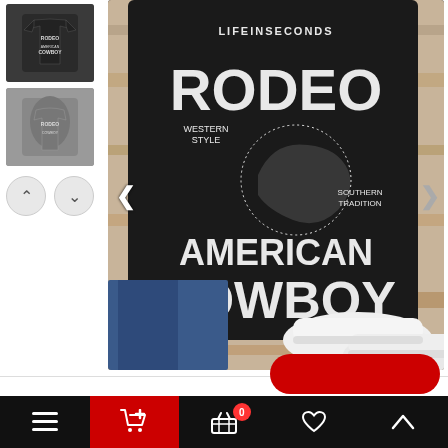[Figure (photo): Thumbnail image of black Rodeo American Cowboy t-shirt laid flat]
[Figure (photo): Thumbnail image of grey Rodeo American Cowboy t-shirt on a model]
[Figure (photo): Main product photo: black t-shirt reading LIFEINSECONDES RODEO WESTERN STYLE SOUTHERN TRADITION AMERICAN COWBOY, laid flat with jeans and white sneakers on wooden surface]
Our website use cookies. If you continue to use this site we will assume that you are happy with this. More about cookies: www.aboutcookies.org